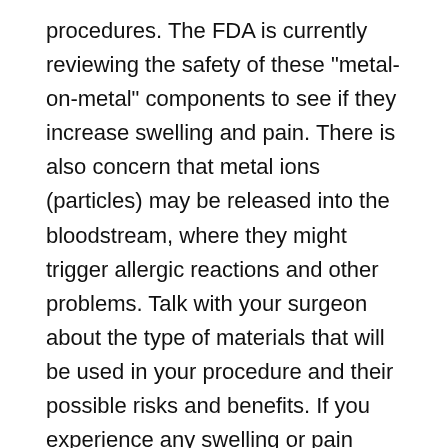procedures. The FDA is currently reviewing the safety of these "metal-on-metal" components to see if they increase swelling and pain. There is also concern that metal ions (particles) may be released into the bloodstream, where they might trigger allergic reactions and other problems. Talk with your surgeon about the type of materials that will be used in your procedure and their possible risks and benefits. If you experience any swelling or pain after surgery, be sure to notify your doctor.
Recovery and Rehabilitation
Aside from the surgeon's skill and the person's underlying condition, the success rate depends on the kind and degree of activity the joint receives following replacement surgery. Physical therapy takes about 6 weeks to rebuild